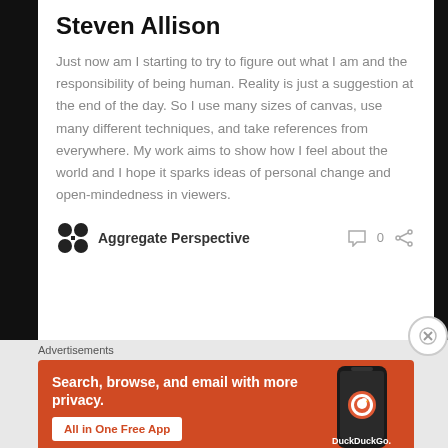Steven Allison
Just now am I starting to try to figure out what I am and the responsibility of being human. Reality is just a suggestion at the end of the day. So I use many sizes of canvas, use many different techniques, and take references from everywhere. My work aims to show how I feel about the world and I hope it sparks ideas of personal change and open-mindedness in viewers.
Aggregate Perspective  0
Advertisements
[Figure (screenshot): DuckDuckGo advertisement banner with orange background. Text: Search, browse, and email with more privacy. All in One Free App. Shows a phone with DuckDuckGo logo.]